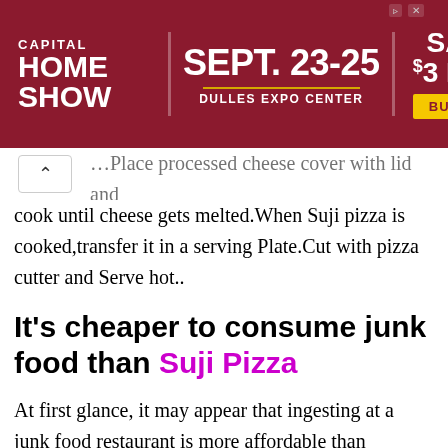[Figure (other): Capital Home Show advertisement banner. Dark red background. Text: CAPITAL HOME SHOW | SEPT. 23-25 | DULLES EXPO CENTER | SAVE $3 NOW | BUY NOW button in yellow.]
...Place processed cheese cover with lid and cook until cheese gets melted.When Suji pizza is cooked,transfer it in a serving Plate.Cut with pizza cutter and Serve hot..
It’s cheaper to consume junk food than Suji Pizza
At first glance, it may appear that ingesting at a junk food restaurant is more affordable than creating a home-cooked meal. But that’s rarely the case. A examine from the College of Washington College of Community Health revealed that folks who cook in the home are apt